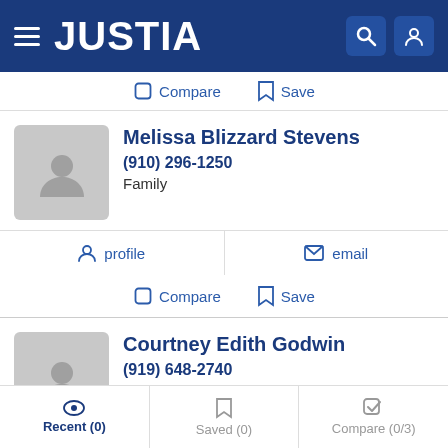JUSTIA
Compare  Save
Melissa Blizzard Stevens
(910) 296-1250
Family
profile  email
Compare  Save
Courtney Edith Godwin
(919) 648-2740
profile  email
Recent (0)  Saved (0)  Compare (0/3)